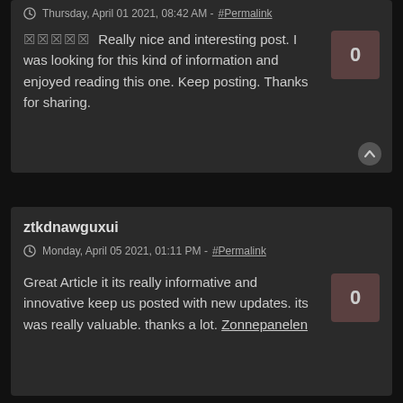Thursday, April 01 2021, 08:42 AM - #Permalink
XXXXX Really nice and interesting post. I was looking for this kind of information and enjoyed reading this one. Keep posting. Thanks for sharing.
0
ztkdnawguxui
Monday, April 05 2021, 01:11 PM - #Permalink
Great Article it its really informative and innovative keep us posted with new updates. its was really valuable. thanks a lot. Zonnepanelen